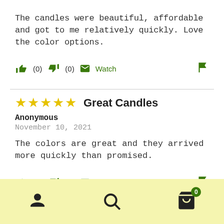The candles were beautiful, affordable and got to me relatively quickly. Love the color options.
👍 (0)  👎 (0)  ✉ Watch  🚩
⭐⭐⭐⭐⭐  Great Candles
Anonymous
November 10, 2021

The colors are great and they arrived more quickly than promised.
👍 (0)  👎 (0)  ✉ Watch  🚩